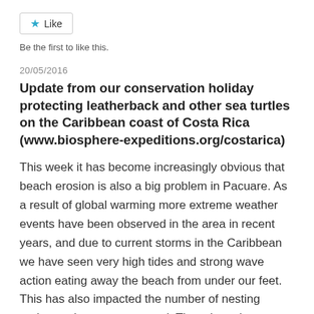[Figure (other): Like button with star icon]
Be the first to like this.
20/05/2016
Update from our conservation holiday protecting leatherback and other sea turtles on the Caribbean coast of Costa Rica (www.biosphere-expeditions.org/costarica)
This week it has become increasingly obvious that beach erosion is also a big problem in Pacuare. As a result of global warming more extreme weather events have been observed in the area in recent years, and due to current storms in the Caribbean we have seen very high tides and strong wave action eating away the beach from under our feet. This has also impacted the number of nesting turtles we have encountered. There have been fewer females coming out to nest at night, as there is little to no beach above the high tide line to